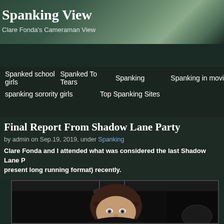Spanking View
Clare Fonda's Cameraman View
Home
babysitter spanking
Birthday Spankings
Interviews
mo[re]
Spanked school girls
Spanked To Tears
Spanking
Spanking in movi[es]
spanking sorority girls
Top Spanking Sites
Final Report From Shadow Lane Party
by admin on Sep.19, 2019, under Spanking
Clare Fonda and I attended what was considered the last Shadow Lane P[arty in its] present long running format) recently.
[Figure (photo): Photo of a woman with brown bangs in a dark indoor setting with pendant lights visible in the background]